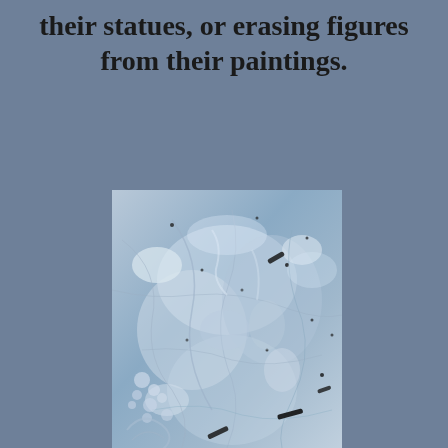their statues, or erasing figures from their paintings.
[Figure (photo): A blue-tinted close-up photograph of ice or frost formations with organic, flowing textures, scattered dark specks, and crystalline patterns.]